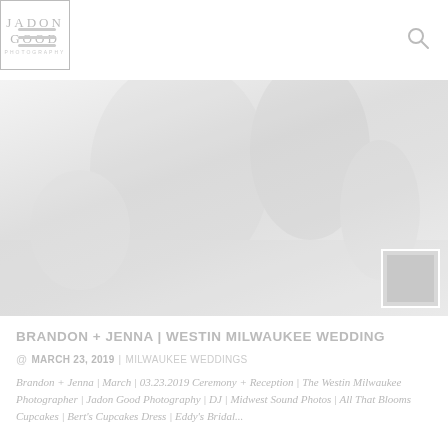JADON GOOD [logo with navigation hamburger and search icon]
[Figure (photo): Wedding photo hero image, very light/washed out, showing a bride and groom, with a small thumbnail overlay in the bottom right corner]
BRANDON + JENNA | WESTIN MILWAUKEE WEDDING
@ MARCH 23, 2019  |  MILWAUKEE WEDDINGS
Brandon + Jenna | March | 03.23.2019 Ceremony + Reception | The Westin Milwaukee Photographer | Jadon Good Photography | DJ | Midwest Sound Photos | All That Blooms Cupcakes | Bert's Cupcakes Dress | Eddy's Bridal...